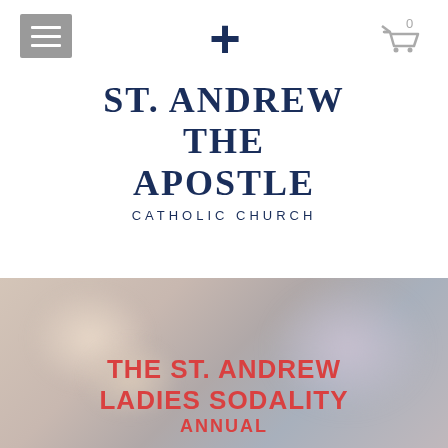[Figure (screenshot): Mobile website navigation bar with hamburger menu icon on the left, a dark blue cross/plus symbol in the center, and a shopping cart icon with '0' on the right]
ST. ANDREW THE APOSTLE
CATHOLIC CHURCH
[Figure (logo): Facebook circular icon (grey) and Instagram circular icon (grey)]
[Figure (photo): Blurred photo background with overlay text reading 'THE ST. ANDREW LADIES SODALITY ANNUAL']